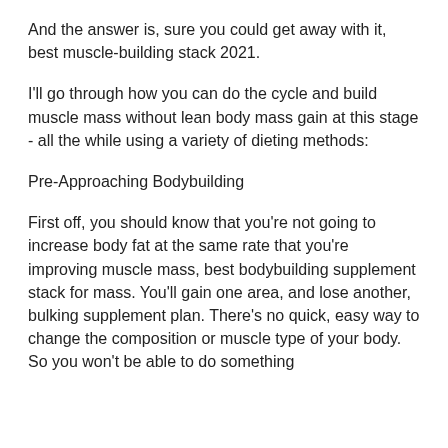And the answer is, sure you could get away with it, best muscle-building stack 2021.
I'll go through how you can do the cycle and build muscle mass without lean body mass gain at this stage - all the while using a variety of dieting methods:
Pre-Approaching Bodybuilding
First off, you should know that you're not going to increase body fat at the same rate that you're improving muscle mass, best bodybuilding supplement stack for mass. You'll gain one area, and lose another, bulking supplement plan. There's no quick, easy way to change the composition or muscle type of your body. So you won't be able to do something